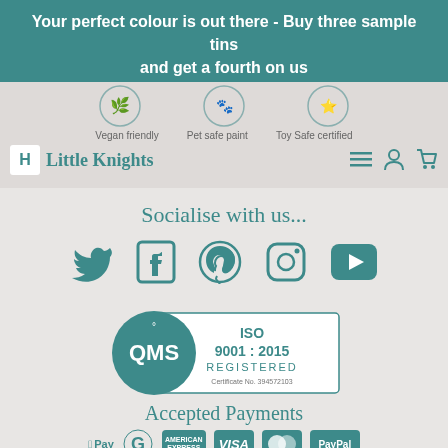Your perfect colour is out there - Buy three sample tins and get a fourth on us
[Figure (screenshot): Little Knights paint website navigation bar with logo, vegan friendly, pet safe paint, toy safe certified badge icons, and hamburger/user/cart icons]
Socialise with us...
[Figure (infographic): Social media icons: Twitter, Facebook, Pinterest, Instagram, YouTube in teal color]
[Figure (logo): QMS ISO 9001:2015 Registered certification badge, Certificate No. 394572103]
Accepted Payments
[Figure (infographic): Payment method icons: Apple Pay, Google Pay, American Express, Visa, Mastercard, PayPal in teal color]